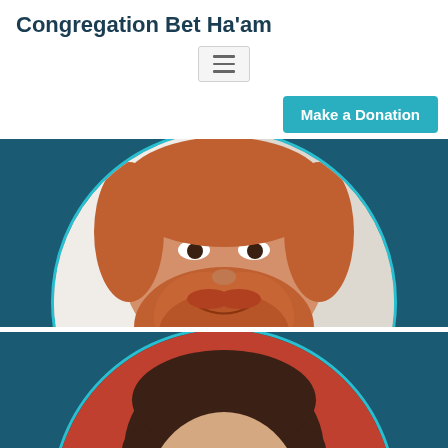Congregation Bet Ha'am
[Figure (other): Hamburger menu icon button]
Make a Donation
[Figure (photo): Circular cropped photo of a bearded man with reddish hair wearing a red shirt and necklace, shown from chin to chest, on a dark teal background]
[Figure (photo): Circular cropped photo of a woman with long dark hair and dark-rimmed glasses wearing a red top, shown from forehead to shoulders, on a dark teal background]